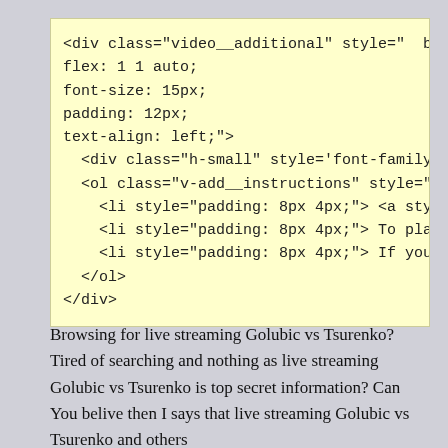[Figure (screenshot): A yellow-background code block showing HTML snippet with div class video__additional, flex, font-size, padding, text-align styles, nested div h-small, ol v-add__instructions, three li elements, closing ol and div tags.]
Browsing for live streaming Golubic vs Tsurenko? Tired of searching and nothing as live streaming Golubic vs Tsurenko is top secret information? Can You belive then I says that live streaming Golubic vs Tsurenko and others